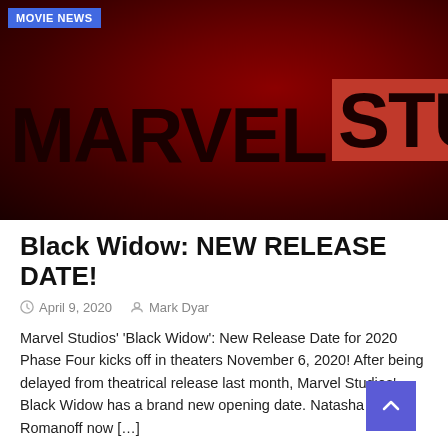[Figure (photo): Marvel Studios logo on a dark red background]
MOVIE NEWS
Black Widow: NEW RELEASE DATE!
April 9, 2020  Mark Dyar
Marvel Studios' 'Black Widow': New Release Date for 2020 Phase Four kicks off in theaters November 6, 2020! After being delayed from theatrical release last month, Marvel Studios' Black Widow has a brand new opening date. Natasha Romanoff now [...]